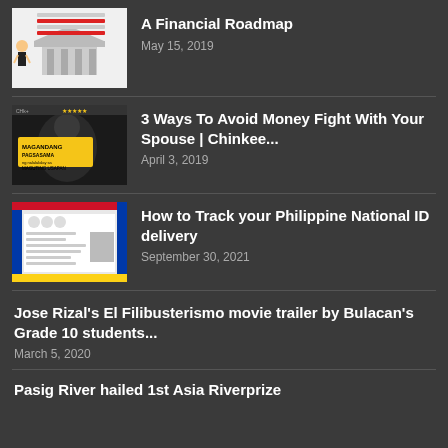[Figure (illustration): Cartoon financial roadmap illustration with character and bank building, text in Filipino]
A Financial Roadmap
May 15, 2019
[Figure (screenshot): Video thumbnail with Magandang Pagsasama text in yellow, person visible in background]
3 Ways To Avoid Money Fight With Your Spouse | Chinkee...
April 3, 2019
[Figure (photo): Philippine National ID document image with colorful border]
How to Track your Philippine National ID delivery
September 30, 2021
Jose Rizal's El Filibusterismo movie trailer by Bulacan's Grade 10 students...
March 5, 2020
Pasig River hailed 1st Asia Riverprize